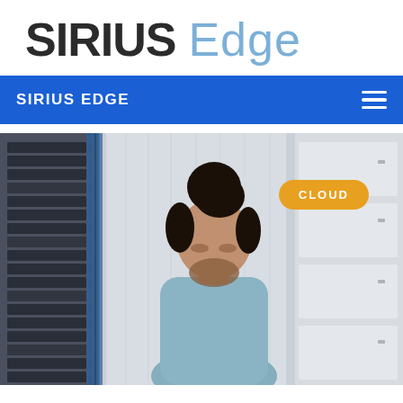[Figure (logo): Sirius Edge logo — 'SIRIUS' in bold dark text and 'Edge' in light blue, large font]
SIRIUS EDGE
[Figure (photo): A man with curly hair in a bun looking down, standing in a server room with server racks on the left and white cabinet panels on the right. An orange 'CLOUD' badge overlays the upper right of the image.]